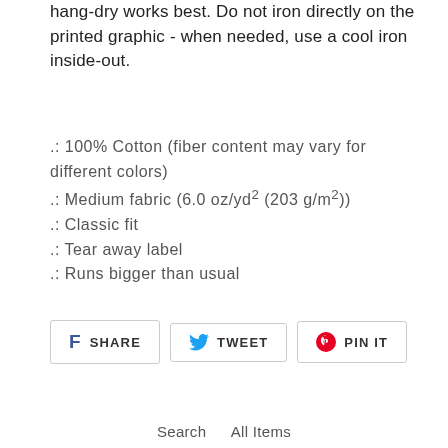hang-dry works best. Do not iron directly on the printed graphic - when needed, use a cool iron inside-out.
.: 100% Cotton (fiber content may vary for different colors)
.: Medium fabric (6.0 oz/yd² (203 g/m²))
.: Classic fit
.: Tear away label
.: Runs bigger than usual
[Figure (other): Social sharing buttons: SHARE (Facebook), TWEET (Twitter), PIN IT (Pinterest)]
Search    All Items